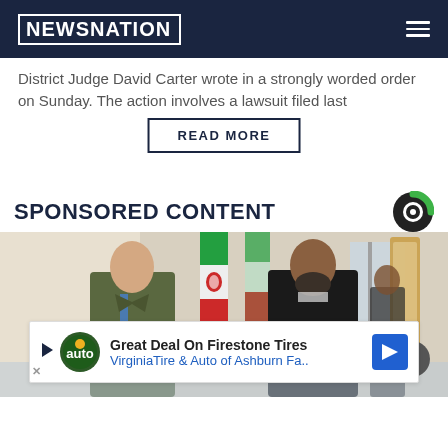NEWSNATION
District Judge David Carter wrote in a strongly worded order on Sunday. The action involves a lawsuit filed last
READ MORE
SPONSORED CONTENT
[Figure (photo): Two men in formal attire shaking hands in front of Iranian flags in an ornate room]
Great Deal On Firestone Tires VirginiaTire & Auto of Ashburn Fa..